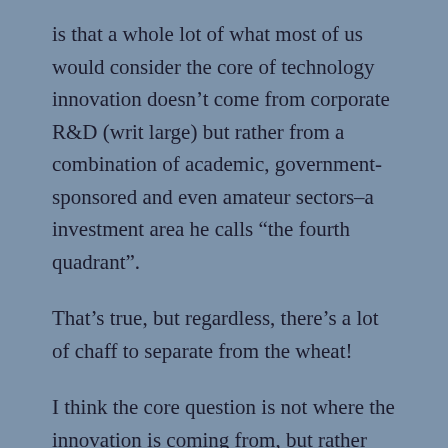is that a whole lot of what most of us would consider the core of technology innovation doesn’t come from corporate R&D (writ large) but rather from a combination of academic, government-sponsored and even amateur sectors–a investment area he calls “the fourth quadrant”.
That’s true, but regardless, there’s a lot of chaff to separate from the wheat!
I think the core question is not where the innovation is coming from, but rather how to identify true paradigm-breaking discovery from the same old same old. It’s not entirely obvious to me. There was an obscure predecessor to the Web called gopher that, in the infancy of the Internet, had many of the features of the